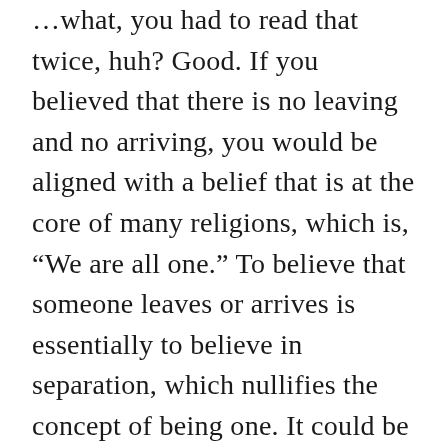…what, you had to read that twice, huh? Good. If you believed that there is no leaving and no arriving, you would be aligned with a belief that is at the core of many religions, which is, “We are all one.” To believe that someone leaves or arrives is essentially to believe in separation, which nullifies the concept of being one. It could be said that none of these men ever left because they never arrived because they were always with you. Or if you really want to startle your mind: they were always you.